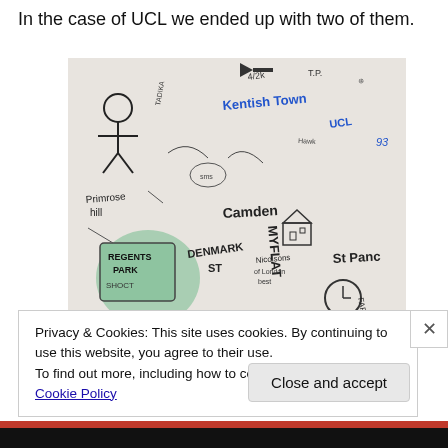In the case of UCL we ended up with two of them.
[Figure (photo): A hand-drawn sketch/graffiti map covered in text and doodles showing various London area names including Kentish Town, Camden, Denmark St, Primrose Hill, Regents Park, UCL, MYFLAT, St Pancras, Farringdon, Kings Cross, Euston, Brunswick, and various other scrawled notes and drawings. Some text is in blue ink.]
Privacy & Cookies: This site uses cookies. By continuing to use this website, you agree to their use.
To find out more, including how to control cookies, see here: Cookie Policy
Close and accept